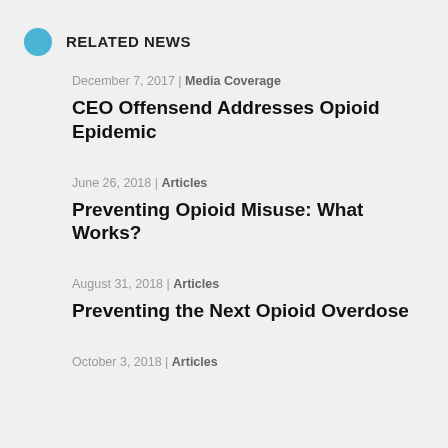RELATED NEWS
December 7, 2017 | Media Coverage
CEO Offensend Addresses Opioid Epidemic
June 26, 2018 | Articles
Preventing Opioid Misuse: What Works?
August 31, 2018 | Articles
Preventing the Next Opioid Overdose
October 3, 2018 | Articles